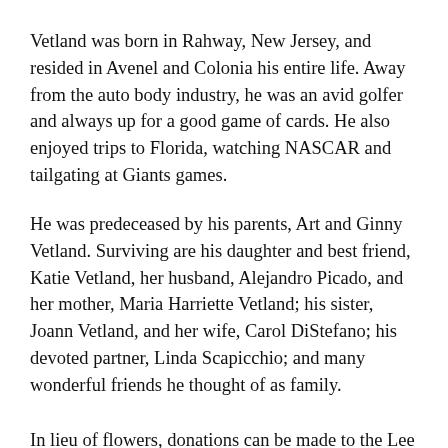Vetland was born in Rahway, New Jersey, and resided in Avenel and Colonia his entire life. Away from the auto body industry, he was an avid golfer and always up for a good game of cards. He also enjoyed trips to Florida, watching NASCAR and tailgating at Giants games.
He was predeceased by his parents, Art and Ginny Vetland. Surviving are his daughter and best friend, Katie Vetland, her husband, Alejandro Picado, and her mother, Maria Harriette Vetland; his sister, Joann Vetland, and her wife, Carol DiStefano; his devoted partner, Linda Scapicchio; and many wonderful friends he thought of as family.
In lieu of flowers, donations can be made to the Lee Vetland Memorial Fund, 1100 Saint Georges Ave.,